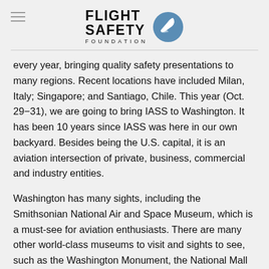[Figure (logo): Flight Safety Foundation logo with airplane icon in blue circle and text FLIGHT SAFETY FOUNDATION]
every year, bringing quality safety presentations to many regions. Recent locations have included Milan, Italy; Singapore; and Santiago, Chile. This year (Oct. 29–31), we are going to bring IASS to Washington. It has been 10 years since IASS was here in our own backyard. Besides being the U.S. capital, it is an aviation intersection of private, business, commercial and industry entities.
Washington has many sights, including the Smithsonian National Air and Space Museum, which is a must-see for aviation enthusiasts. There are many other world-class museums to visit and sights to see, such as the Washington Monument, the National Mall and the White House.